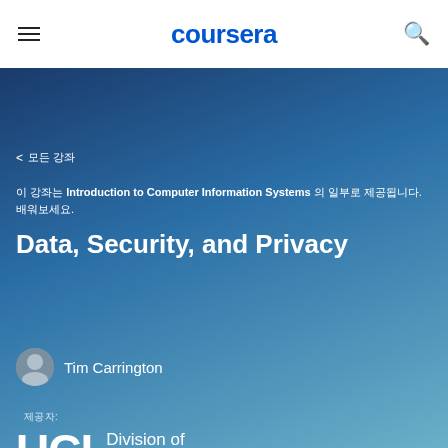coursera
< 모든 강좌
이 강좌는 Introduction to Computer Information Systems 의 일부로 제공됩니다.
Data, Security, and Privacy
Tim Carrington
제공자:
[Figure (logo): UCI Division of Continuing Education logo with large UCI text and smaller Division of Continuing Education text]